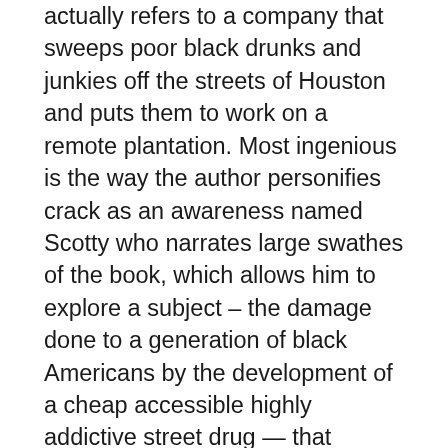actually refers to a company that sweeps poor black drunks and junkies off the streets of Houston and puts them to work on a remote plantation. Most ingenious is the way the author personifies crack as an awareness named Scotty who narrates large swathes of the book, which allows him to explore a subject – the damage done to a generation of black Americans by the development of a cheap accessible highly addictive street drug — that usually flies under the radar of political discourse about race, economic injustice, and the prison system in America. There are richly developed characters, smartly digested political commentary delivered on the fly, and yes, there is redemption. But it's a tough literary novel, not a beach read. After reading Hannaham's harrowing details of how these captives are housed and fed and worked (Oz meets 12 Years a Slave), you may have trouble eating watermelon ever again.